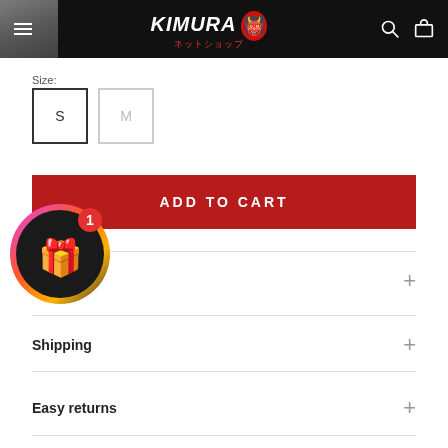KIMURA ネットショップ — navigation header
Size:
S  M
ADD TO CART
[Figure (illustration): Gift box reward widget with gradient ring and badge showing '1']
iption +
Shipping +
Easy returns +